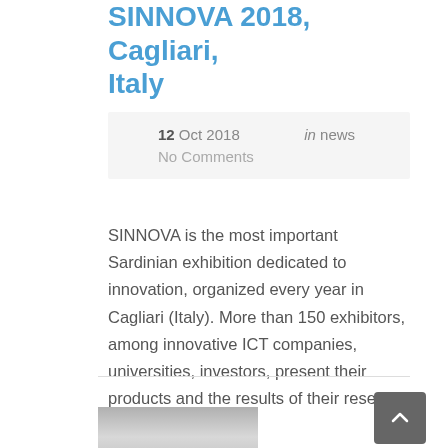SINNOVA 2018, Cagliari, Italy
12 Oct 2018   in news
No Comments
SINNOVA is the most important Sardinian exhibition dedicated to innovation, organized every year in Cagliari (Italy). More than 150 exhibitors, among innovative ICT companies, universities, investors, present their products and the results of their research activities.
[Figure (photo): Photo showing a LetsCROWD banner/sign at the SINNOVA exhibition in Cagliari]